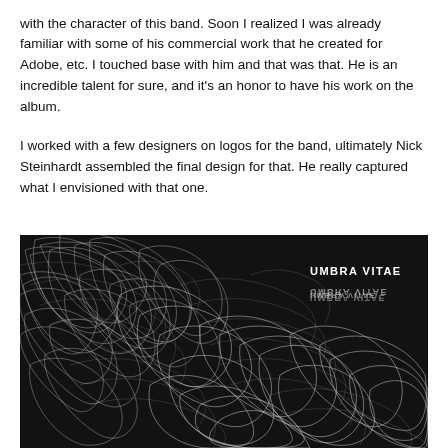with the character of this band. Soon I realized I was already familiar with some of his commercial work that he created for Adobe, etc. I touched base with him and that was that. He is an incredible talent for sure, and it’s an honor to have his work on the album.
I worked with a few designers on logos for the band, ultimately Nick Steinhardt assembled the final design for that. He really captured what I envisioned with that one.
[Figure (photo): Dark album artwork showing abstract white thread-like wisps forming organic shapes against a near-black background. In the upper right corner is text reading 'UMBRA VITAE' with a mirrored reflection below it.]